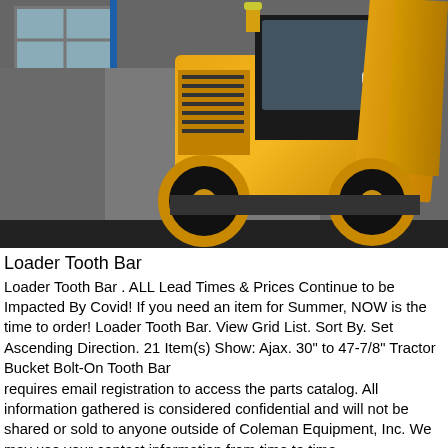[Figure (photo): A yellow front-end loader / wheel loader tractor with a bucket arm raised, parked in front of a grey concrete wall with a window visible on the left side. The machine is predominantly bright yellow with large black tires.]
Loader Tooth Bar
Loader Tooth Bar . ALL Lead Times & Prices Continue to be Impacted By Covid! If you need an item for Summer, NOW is the time to order! Loader Tooth Bar. View Grid List. Sort By. Set Ascending Direction. 21 Item(s) Show: Ajax. 30" to 47-7/8" Tractor Bucket Bolt-On Tooth Bar requires email registration to access the parts catalog. All information gathered is considered confidential and will not be shared or sold to anyone outside of Coleman Equipment, Inc. We may use your contact information from time to time